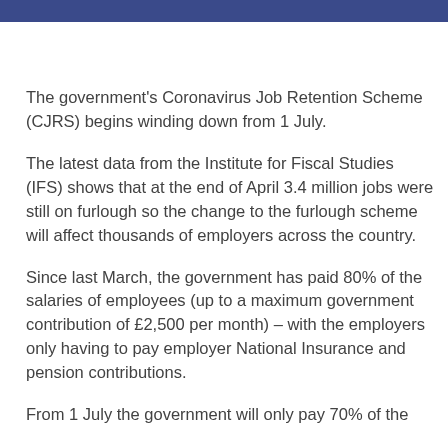The government's Coronavirus Job Retention Scheme (CJRS) begins winding down from 1 July.
The latest data from the Institute for Fiscal Studies (IFS) shows that at the end of April 3.4 million jobs were still on furlough so the change to the furlough scheme will affect thousands of employers across the country.
Since last March, the government has paid 80% of the salaries of employees (up to a maximum government contribution of £2,500 per month) – with the employers only having to pay employer National Insurance and pension contributions.
From 1 July the government will only pay 70% of the